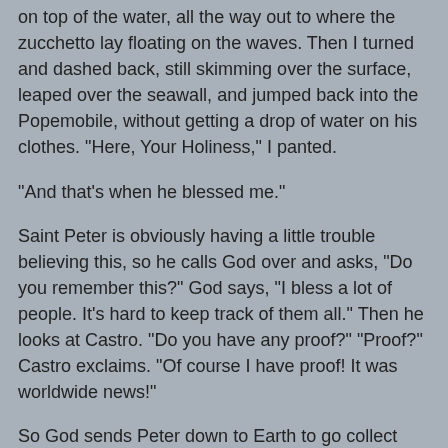on top of the water, all the way out to where the zucchetto lay floating on the waves. Then I turned and dashed back, still skimming over the surface, leaped over the seawall, and jumped back into the Popemobile, without getting a drop of water on his clothes. "Here, Your Holiness," I panted.
"And that's when he blessed me."
Saint Peter is obviously having a little trouble believing this, so he calls God over and asks, "Do you remember this?" God says, "I bless a lot of people. It's hard to keep track of them all." Then he looks at Castro. "Do you have any proof?" "Proof?" Castro exclaims. "Of course I have proof! It was worldwide news!"
So God sends Peter down to Earth to go collect some newspapers from the day after, and sure enough it's on the front page of every last one.
In Granma, the Cuban Communist Party newspaper, the headline read “Fidel is Chosen by God; He Walks on Water.”